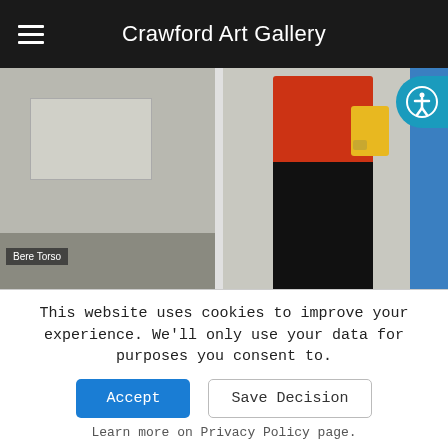Crawford Art Gallery
[Figure (photo): Two-panel photo: left panel shows a sculpture display with label 'Bere Torso'; right panel shows a person in a red top, yellow bag, and black pants near a blue wall.]
In this new 8-part series, we explore the stories of our Sculpture Galleries and uncover [...]
Read More
This website uses cookies to improve your experience. We'll only use your data for purposes you consent to.
Accept
Save Decision
Learn more on Privacy Policy page.